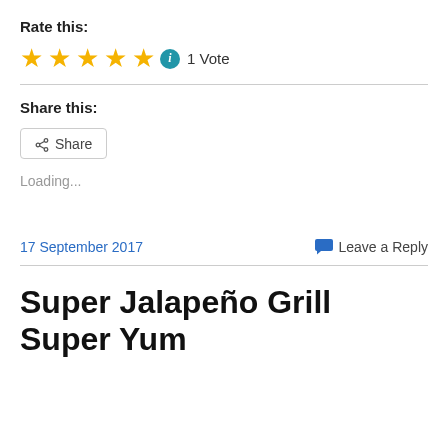Rate this:
[Figure (other): Five gold stars rating with an info icon and '1 Vote' text]
Share this:
[Figure (other): Share button with share icon]
Loading...
17 September 2017
Leave a Reply
Super Jalapeño Grill Super Yum